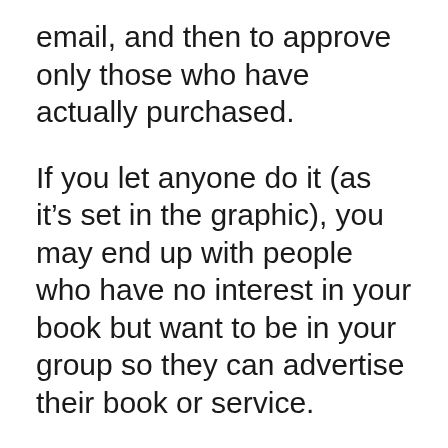email, and then to approve only those who have actually purchased.
If you let anyone do it (as it’s set in the graphic), you may end up with people who have no interest in your book but want to be in your group so they can advertise their book or service.
If you have more than one group set up, consider using the “Automatic Membership Approval” option.